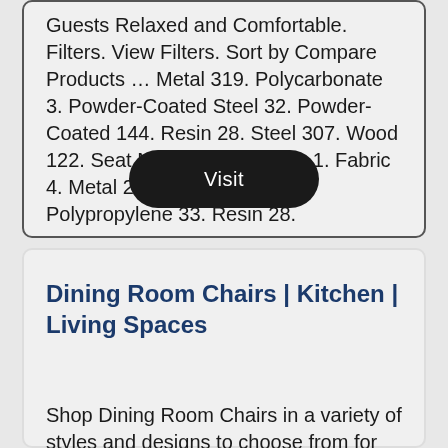Restaurant Dining Chairs Will Keep Your Guests Relaxed and Comfortable. Filters. View Filters. Sort by Compare Products … Metal 319. Polycarbonate 3. Powder-Coated Steel 32. Powder-Coated 144. Resin 28. Steel 307. Wood 122. Seat Material. Aluminum 1. Fabric 4. Metal 28. Polycarbonate 2. Polypropylene 33. Resin 28.
Visit
Dining Room Chairs | Kitchen | Living Spaces
Shop Dining Room Chairs in a variety of styles and designs to choose from for